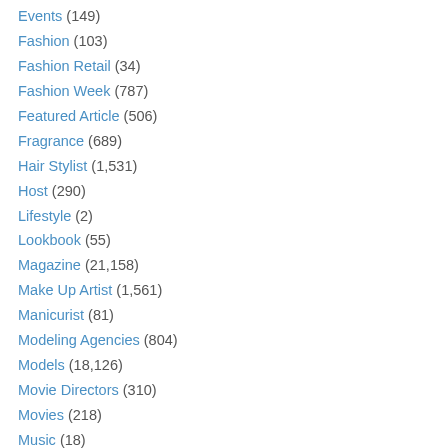Events (149)
Fashion (103)
Fashion Retail (34)
Fashion Week (787)
Featured Article (506)
Fragrance (689)
Hair Stylist (1,531)
Host (290)
Lifestyle (2)
Lookbook (55)
Magazine (21,158)
Make Up Artist (1,561)
Manicurist (81)
Modeling Agencies (804)
Models (18,126)
Movie Directors (310)
Movies (218)
Music (18)
Musician (137)
News (631)